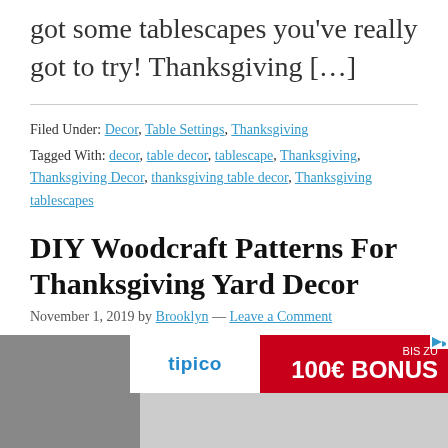got some tablescapes you've really got to try! Thanksgiving […]
Filed Under: Decor, Table Settings, Thanksgiving
Tagged With: decor, table decor, tablescape, Thanksgiving, Thanksgiving Decor, thanksgiving table decor, Thanksgiving tablescapes
DIY Woodcraft Patterns For Thanksgiving Yard Decor
November 1, 2019 by Brooklyn — Leave a Comment
[Figure (infographic): Tipico advertisement banner: white logo area on left with tipico in blue, red background on right with 'BIS ZU' and '100€ BONUS' text in white]